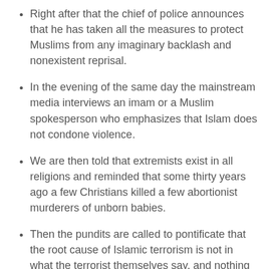Right after that the chief of police announces that he has taken all the measures to protect Muslims from any imaginary backlash and nonexistent reprisal.
In the evening of the same day the mainstream media interviews an imam or a Muslim spokesperson who emphasizes that Islam does not condone violence.
We are then told that extremists exist in all religions and reminded that some thirty years ago a few Christians killed a few abortionist murderers of unborn babies.
Then the pundits are called to pontificate that the root cause of Islamic terrorism is not in what the terrorist themselves say, and nothing to do with the Quran (that in hundreds of verses calls on the believers to kill the unbelievers), but in the injustice done to Muslims in other parts of the world, such as in Abu Ghraib prison and particularly in Palestine where half a century ago